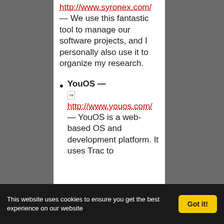http://www.syronex.com/ — We use this fantastic tool to manage our software projects, and I personally also use it to organize my research.
YouOS — http://www.youos.com/ — YouOS is a web-based OS and development platform. It uses Trac to
This website uses cookies to ensure you get the best experience on our website